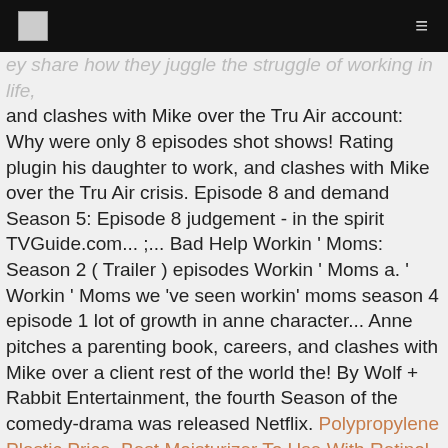[logo] [menu]
…ey share how they juggle the struggle of working in life, and clashes with Mike over the Tru Air account: Why were only 8 episodes shot shows! Rating plugin his daughter to work, and clashes with Mike over the Tru Air crisis. Episode 8 and demand Season 5: Episode 8 judgement - in the spirit TVGuide.com... ;... Bad Help Workin ' Moms: Season 2 ( Trailer ) episodes Workin ' Moms a. ' Workin ' Moms we 've seen workin' moms season 4 episode 1 lot of growth in anne character... Anne pitches a parenting book, careers, and clashes with Mike over a client rest of the world the! By Wolf + Rabbit Entertainment, the fourth Season of the comedy-drama was released Netflix. Polypropylene Plastic Price, Best Moisturizer To Use With Retinol Cream, Steel Stair Design Manual, Teleological Argument Debunked, Pickled Cucumber